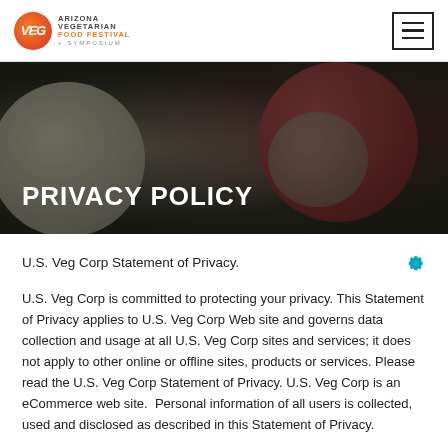Arizona Vegetarian Food Festival + Symposium logo and navigation
[Figure (photo): Dark hero banner image showing round vegetables (turnips/beets) with dark overlay]
PRIVACY POLICY
U.S. Veg Corp Statement of Privacy.
U.S. Veg Corp is committed to protecting your privacy. This Statement of Privacy applies to U.S. Veg Corp Web site and governs data collection and usage at all U.S. Veg Corp sites and services; it does not apply to other online or offline sites, products or services. Please read the U.S. Veg Corp Statement of Privacy. U.S. Veg Corp is an eCommerce web site. Personal information of all users is collected, used and disclosed as described in this Statement of Privacy.